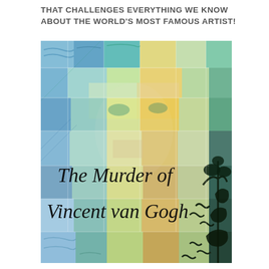THAT CHALLENGES EVERYTHING WE KNOW ABOUT THE WORLD'S MOST FAMOUS ARTIST!
[Figure (illustration): Book cover of 'The Murder of Vincent van Gogh' — a colorful collage of Van Gogh paintings forming a face, with cursive black script title text overlaid reading 'The Murder of Vincent van Gogh', and black bird/tree silhouettes on the right side.]